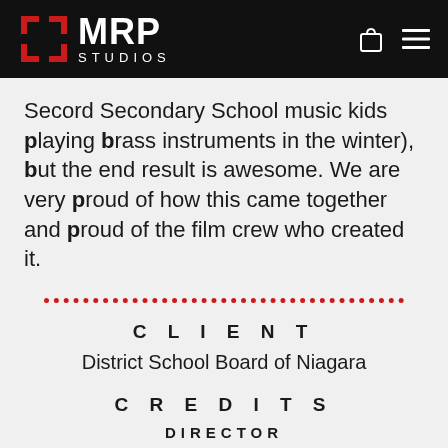MRP STUDIOS
Secord Secondary School music kids playing brass instruments in the winter), but the end result is awesome. We are very proud of how this came together and proud of the film crew who created it.
CLIENT
District School Board of Niagara
CREDITS
DIRECTOR